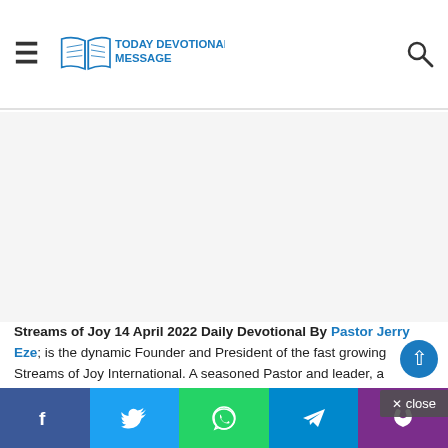TODAY DEVOTIONAL MESSAGE
[Figure (other): Advertisement banner area (gray placeholder)]
Streams of Joy 14 April 2022 Daily Devotional By Pastor Jerry Eze; is the dynamic Founder and President of the fast growing Streams of Joy International. A seasoned Pastor and leader, a consummate conference speaker and leadership coach. The work of ministry have taken him to major platforms around the world. Streams of Joy 14 April 2022 Daily.
Social share buttons: Facebook, Twitter, WhatsApp, Telegram, Phone